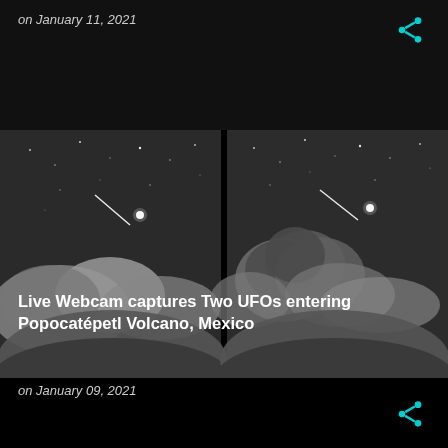on January 11, 2021
[Figure (photo): Side-by-side black and white night sky photos showing Popocatépetl Volcano with clouds and streaks of light (UFOs) entering the volcano, stars visible in background]
Live Webcam captures Two UFOs entering Popocatépetl Volcano, Mexico
on January 09, 2021